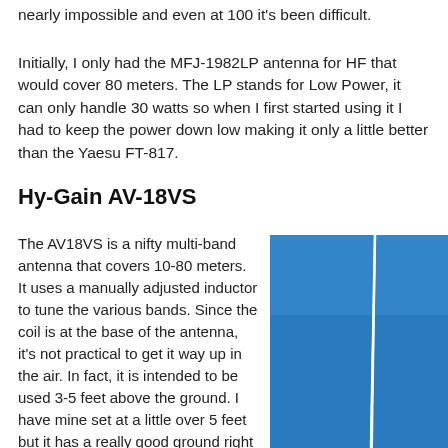nearly impossible and even at 100 it's been difficult.
Initially, I only had the MFJ-1982LP antenna for HF that would cover 80 meters. The LP stands for Low Power, it can only handle 30 watts so when I first started using it I had to keep the power down low making it only a little better than the Yaesu FT-817.
Hy-Gain AV-18VS
The AV18VS is a nifty multi-band antenna that covers 10-80 meters. It uses a manually adjusted inductor to tune the various bands. Since the coil is at the base of the antenna, it's not practical to get it way up in the air. In fact, it is intended to be used 3-5 feet above the ground. I have mine set at a little over 5 feet but it has a really good ground right under it.
[Figure (photo): Photo of a white vertical antenna against a blue sky]